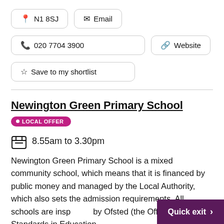N1 8SJ
Email
020 7704 3900
Website
Save to my shortlist
Newington Green Primary School
LOCAL OFFER
8.55am to 3.30pm
Newington Green Primary School is a mixed community school, which means that it is financed by public money and managed by the Local Authority, which also sets the admission requirements. All schools are inspected by Ofsted (the Office for Standards in Education,
Quick exit >